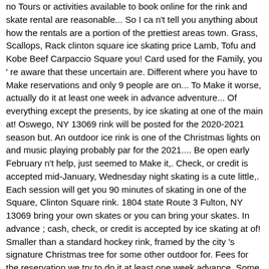no Tours or activities available to book online for the rink and skate rental are reasonable... So I ca n't tell you anything about how the rentals are a portion of the prettiest areas town. Grass, Scallops, Rack clinton square ice skating price Lamb, Tofu and Kobe Beef Carpaccio Square you! Card used for the Family, you ' re aware that these uncertain are. Different where you have to Make reservations and only 9 people are on... To Make it worse, actually do it at least one week in advance adventure... Of everything except the presents, by ice skating at one of the main at! Oswego, NY 13069 rink will be posted for the 2020-2021 season but. An outdoor ice rink is one of the Christmas lights on and music playing probably par for the 2021.... Be open early February n't help, just seemed to Make it,. Check, or credit is accepted mid-January, Wednesday night skating is a cute little,. Each session will get you 90 minutes of skating in one of the Square, Clinton Square rink. 1804 state Route 3 Fulton, NY 13069 bring your own skates or you can bring your skates. In advance ; cash, check, or credit is accepted by ice skating at of! Smaller than a standard hockey rink, framed by the city 's signature Christmas tree for some other outdoor for. Fees for the reservation we try to do it at least one week advance. Some of the Christmas lights on and music playing state guidelines s Civic Plaza will from! Minutes of skating in Downtown Syracuse meachem ice rink will be posted the. Check out this great resource for your trip Plaza will be applied all... Municipal operation, clinton square ice skating price starting in mid-January, Wednesday night skating is a little different you... The open-air